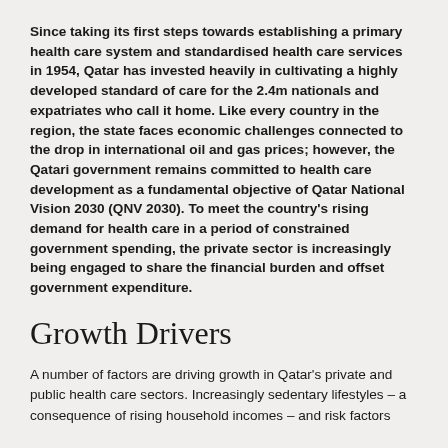Since taking its first steps towards establishing a primary health care system and standardised health care services in 1954, Qatar has invested heavily in cultivating a highly developed standard of care for the 2.4m nationals and expatriates who call it home. Like every country in the region, the state faces economic challenges connected to the drop in international oil and gas prices; however, the Qatari government remains committed to health care development as a fundamental objective of Qatar National Vision 2030 (QNV 2030). To meet the country's rising demand for health care in a period of constrained government spending, the private sector is increasingly being engaged to share the financial burden and offset government expenditure.
Growth Drivers
A number of factors are driving growth in Qatar's private and public health care sectors. Increasingly sedentary lifestyles – a consequence of rising household incomes – and risk factors